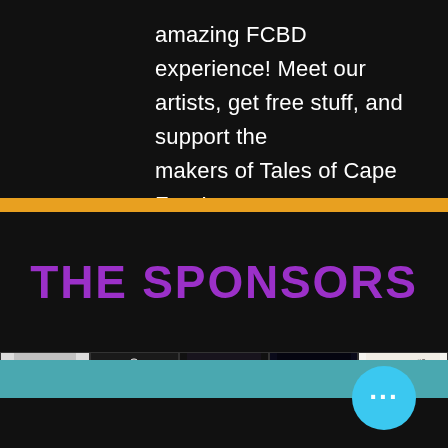amazing FCBD experience! Meet our artists, get free stuff, and support the makers of Tales of Cape Fear!
THE SPONSORS
[Figure (photo): A horizontal strip of five comic book / graphic novel cover images displayed in a row against a dark background. From left: a partially cropped grayscale cover, a black-and-white comic with 'SIDEBOARD' text, a dark cover with 'WONDER' text, a dark sci-fi themed cover reading 'COMING MAY 2022', and a vintage-style black-and-white cover reading 'THE EAGLE'S DARE'.]